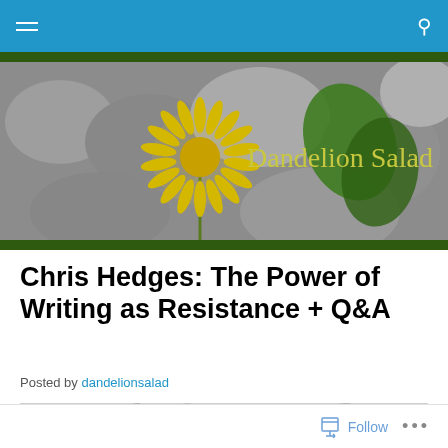Navigation bar with menu and search icons
[Figure (photo): Banner photo of yellow dandelion flower on grey stones with green leaves, with 'Dandelion Salad' text overlay in yellow-green color]
Chris Hedges: The Power of Writing as Resistance + Q&A
Posted by dandelionsalad
[Figure (photo): Partially visible black and white photo of bare tree branches]
Follow ...